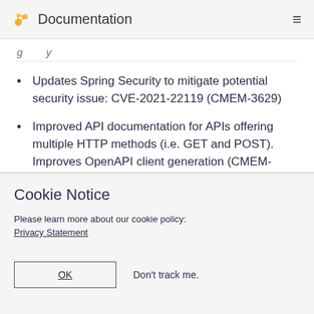Documentation
(partially visible cropped text)
Updates Spring Security to mitigate potential security issue: CVE-2021-22119 (CMEM-3629)
Improved API documentation for APIs offering multiple HTTP methods (i.e. GET and POST). Improves OpenAPI client generation (CMEM-3591)
Cookie Notice
Please learn more about our cookie policy:
Privacy Statement
OK    Don't track me.